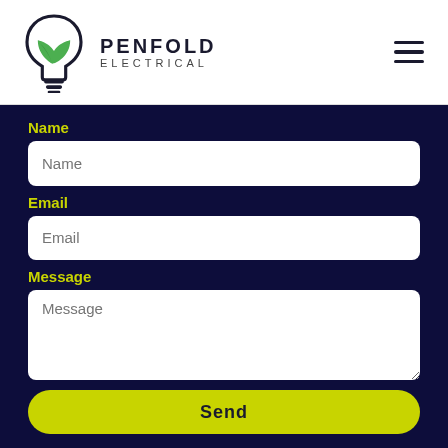[Figure (logo): Penfold Electrical logo: lightbulb with green leaf inside and text PENFOLD ELECTRICAL]
Name
Name (input placeholder)
Email
Email (input placeholder)
Message
Message (textarea placeholder)
Send